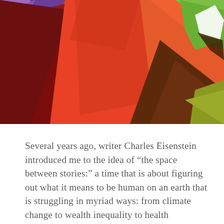[Figure (illustration): Abstract colorful illustration of human figures/silhouettes in bold geometric shapes. Colors include red, orange, dark red/maroon, purple, green, and olive/yellow-green. Stylized faces and forms visible in low-poly or flat graphic style.]
Several years ago, writer Charles Eisenstein introduced me to the idea of “the space between stories:” a time that is about figuring out what it means to be human on an earth that is struggling in myriad ways: from climate change to wealth inequality to health disparities to racism to war to fresh water